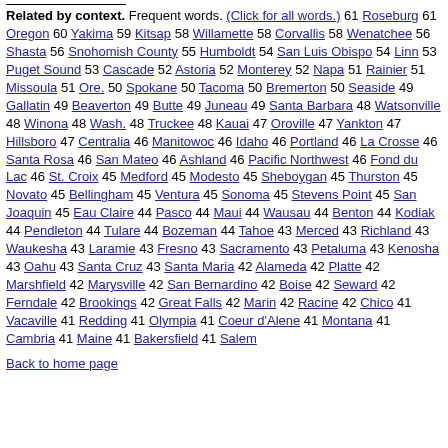Related by context. Frequent words. (Click for all words.) 61 Roseburg 61 Oregon 60 Yakima 59 Kitsap 58 Willamette 58 Corvallis 58 Wenatchee 56 Shasta 56 Snohomish County 55 Humboldt 54 San Luis Obispo 54 Linn 53 Puget Sound 53 Cascade 52 Astoria 52 Monterey 52 Napa 51 Rainier 51 Missoula 51 Ore. 50 Spokane 50 Tacoma 50 Bremerton 50 Seaside 49 Gallatin 49 Beaverton 49 Butte 49 Juneau 49 Santa Barbara 48 Watsonville 48 Winona 48 Wash. 48 Truckee 48 Kauai 47 Oroville 47 Yankton 47 Hillsboro 47 Centralia 46 Manitowoc 46 Idaho 46 Portland 46 La Crosse 46 Santa Rosa 46 San Mateo 46 Ashland 46 Pacific Northwest 46 Fond du Lac 46 St. Croix 45 Medford 45 Modesto 45 Sheboygan 45 Thurston 45 Novato 45 Bellingham 45 Ventura 45 Sonoma 45 Stevens Point 45 San Joaquin 45 Eau Claire 44 Pasco 44 Maui 44 Wausau 44 Benton 44 Kodiak 44 Pendleton 44 Tulare 44 Bozeman 44 Tahoe 43 Merced 43 Richland 43 Waukesha 43 Laramie 43 Fresno 43 Sacramento 43 Petaluma 43 Kenosha 43 Oahu 43 Santa Cruz 43 Santa Maria 42 Alameda 42 Platte 42 Marshfield 42 Marysville 42 San Bernardino 42 Boise 42 Seward 42 Ferndale 42 Brookings 42 Great Falls 42 Marin 42 Racine 42 Chico 41 Vacaville 41 Redding 41 Olympia 41 Coeur d'Alene 41 Montana 41 Cambria 41 Maine 41 Bakersfield 41 Salem
Back to home page